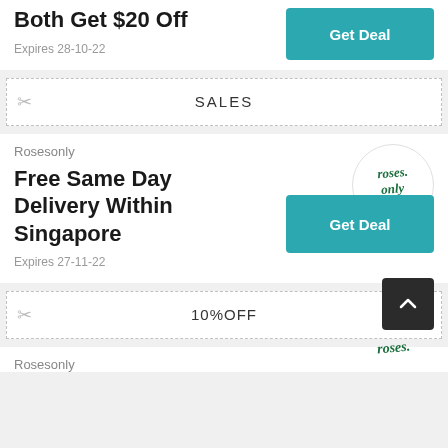Both Get $20 Off
Expires 28-10-22
SALES
Rosesonly
Free Same Day Delivery Within Singapore
Expires 27-11-22
10%OFF
Rosesonly